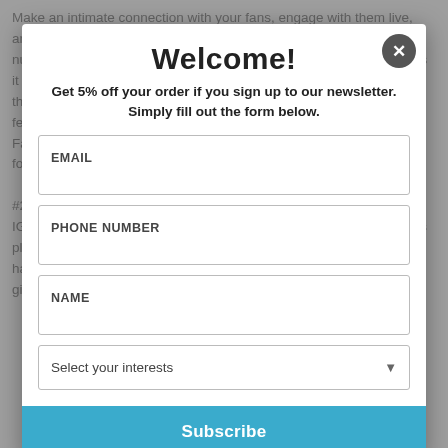Make an intimate connection with your fans, engage with them live, answer their questions, and make them feel special, not just another number in a list. Don't have a topic? Make it something fun as long as it doesn't involve the bathroom and the kitchen sink. Or wait. Maybe the kitchen sink is okay, too. It doesn't take much effort yet it's a good fertilizer. It's now a matter of where you want to Livestream—Facebook, Instagram, or Youtube. Test it out and see if it's something for you.

#2. Stories
IG stories. Facebook stories. More and more musicians are using this platform, too! There are some people who prefer to follow the latest happenings using messenger or Instagram. You can post your latest gig scheds, or whatever you think tickles the fancy of your fanbase.
Welcome!
Get 5% off your order if you sign up to our newsletter. Simply fill out the form below.
EMAIL
PHONE NUMBER
NAME
Select your interests
Subscribe